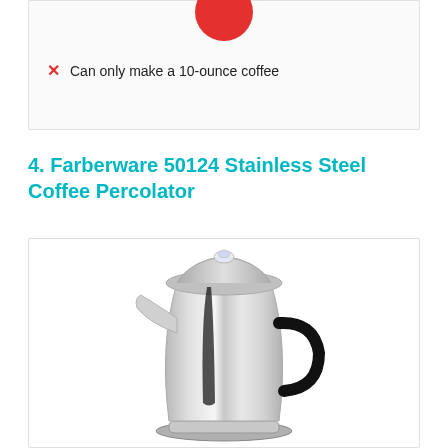✗ Can only make a 10-ounce coffee
4. Farberware 50124 Stainless Steel Coffee Percolator
[Figure (photo): Photo of a shiny stainless steel coffee percolator with a black handle and clear knob on lid, on white background]